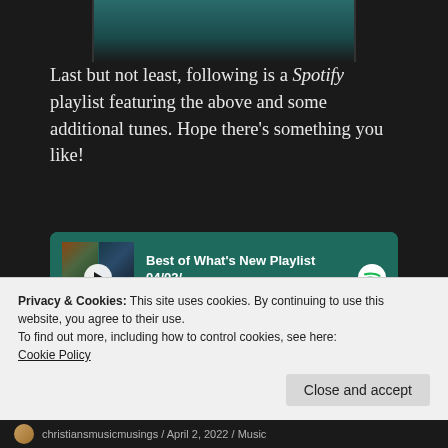[Figure (screenshot): Top portion of an album cover or music-related image with teal/dark background, partially visible]
Last but not least, following is a Spotify playlist featuring the above and some additional tunes. Hope there’s something you like!
[Figure (screenshot): Spotify embedded playlist player showing 'Best of What\'s New Playlist 04/02/...' by Chrispflaumer, with album art collage, play button, progress bar, and first track 'Start All Over Again' by Eric Roberson, 5:08]
Privacy & Cookies: This site uses cookies. By continuing to use this website, you agree to their use.
To find out more, including how to control cookies, see here:
Cookie Policy
christiansmusicmusings / April 2, 2022 / Music